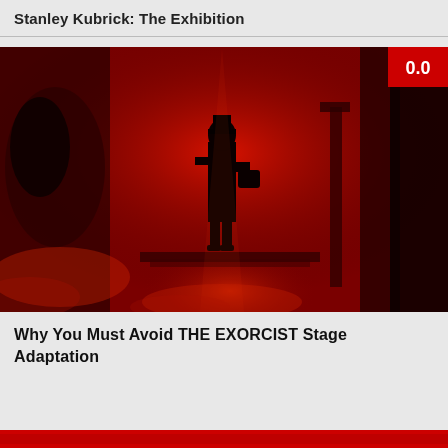Stanley Kubrick: The Exhibition
[Figure (photo): A dark red-tinted horror image showing a silhouetted figure standing in a doorway/street with atmospheric red lighting, reminiscent of The Exorcist movie poster. A score badge '0.0' appears in the top-right corner.]
Why You Must Avoid THE EXORCIST Stage Adaptation
[Figure (photo): Partial red-tinted image visible at the bottom edge of the page.]